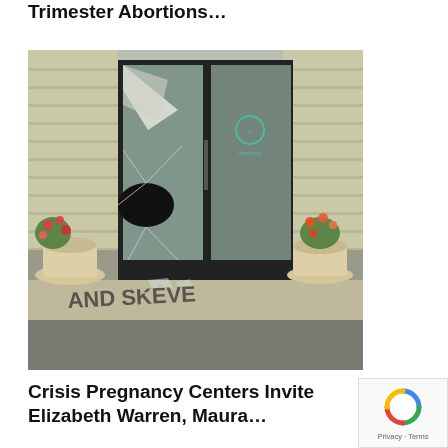Trimester Abortions…
[Figure (photo): Photo of a building entrance with shattered glass doors. Graffiti is sprayed on the concrete walkway in front of the doors. Two potted plants with flowers flank the entrance.]
Crisis Pregnancy Centers Invite Elizabeth Warren, Maura…